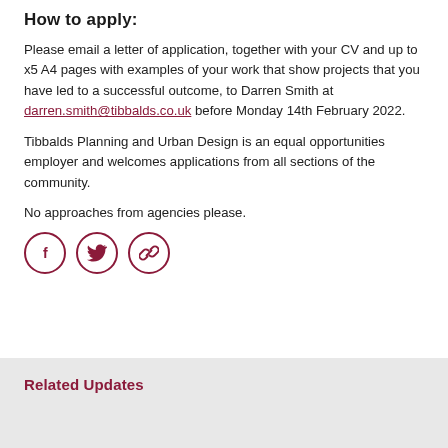How to apply:
Please email a letter of application, together with your CV and up to x5 A4 pages with examples of your work that show projects that you have led to a successful outcome, to Darren Smith at darren.smith@tibbalds.co.uk before Monday 14th February 2022.
Tibbalds Planning and Urban Design is an equal opportunities employer and welcomes applications from all sections of the community.
No approaches from agencies please.
[Figure (infographic): Three circular social share icons with dark red border: Facebook (f), Twitter (bird), and a chain/link icon]
Related Updates